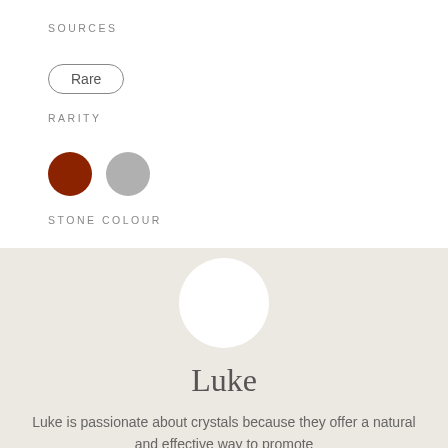SOURCES
Rare
RARITY
[Figure (illustration): Two color swatches: a dark red/brown circle and a light gray circle representing stone colours]
STONE COLOUR
[Figure (photo): White circular avatar/profile picture placeholder]
Luke
Luke is passionate about crystals because they offer a natural and effective way to promote